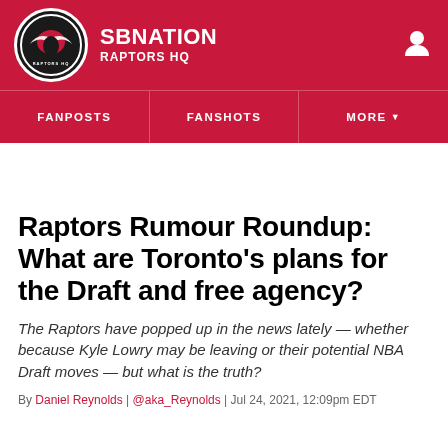SB Nation — Raptors HQ
Raptors Rumour Roundup: What are Toronto's plans for the Draft and free agency?
The Raptors have popped up in the news lately — whether because Kyle Lowry may be leaving or their potential NBA Draft moves — but what is the truth?
By Daniel Reynolds | @aka_Reynolds | Jul 24, 2021, 12:09pm EDT